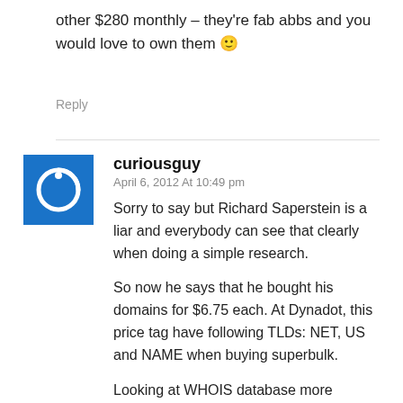other $280 monthly – they're fab abbs and you would love to own them 🙂
Reply
curiousguy
April 6, 2012 At 10:49 pm
Sorry to say but Richard Saperstein is a liar and everybody can see that clearly when doing a simple research.
So now he says that he bought his domains for $6.75 each. At Dynadot, this price tag have following TLDs: NET, US and NAME when buying superbulk.
Looking at WHOIS database more closely, we will find domains which are indeed owned by Richard Saperstein: